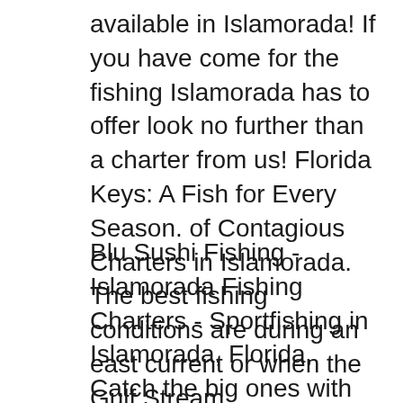available in Islamorada! If you have come for the fishing Islamorada has to offer look no further than a charter from us! Florida Keys: A Fish for Every Season. of Contagious Charters in Islamorada. The best fishing conditions are during an east current or when the Gulf Stream
Blu Sushi Fishing - Islamorada Fishing Charters - Sportfishing in Islamorada, Florida, Catch the big ones with Blu Sushi Fishing Fly-Fishing the Florida Keys Flats permit demand the best from anglers and guides. For a topnotch Florida Keys fly fishing guide contact Captain Luke